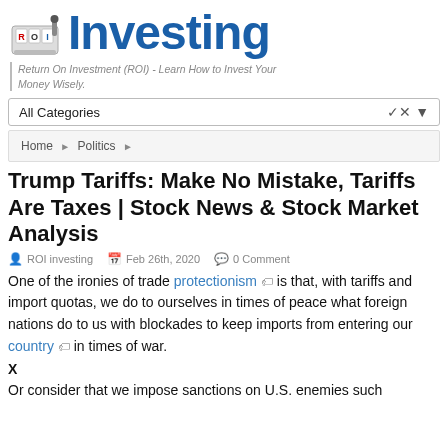[Figure (logo): ROI Investing logo with slot machine graphic and large blue 'Investing' text]
Return On Investment (ROI) - Learn How to Invest Your Money Wisely.
All Categories
Home ▶ Politics ▶
Trump Tariffs: Make No Mistake, Tariffs Are Taxes | Stock News & Stock Market Analysis
ROI investing   Feb 26th, 2020   0 Comment
One of the ironies of trade protectionism 🏷 is that, with tariffs and import quotas, we do to ourselves in times of peace what foreign nations do to us with blockades to keep imports from entering our country 🏷 in times of war.
X
Or consider that we impose sanctions on U.S. enemies such